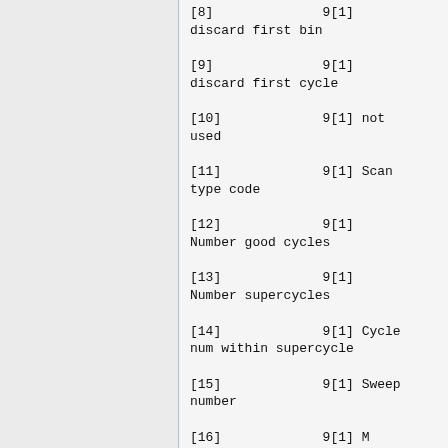[8]              9[1] discard first bin
[9]              9[1] discard first cycle
[10]             9[1] not used
[11]             9[1] Scan type code
[12]             9[1] Number good cycles
[13]             9[1] Number supercycles
[14]             9[1] Cycle num within supercycle
[15]             9[1] Sweep number
[16]             9[1] M...